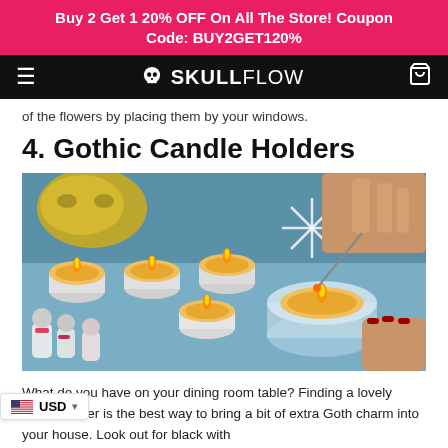Buy 2 Get 1 20% OFF On All The Store! Coupon Code: BUY2GET120%
SKULLFLOW
of the flowers by placing them by your windows.
4. Gothic Candle Holders
[Figure (photo): A flat lay of tea light candles in small white and glass holders on a blue surface, with decorative Christmas figurines and a gold mask. A hand with dark nail polish lights one of the candles with a match. Snowflake decorations are visible in the background.]
What do you have on your dining room table? Finding a lovely candleholder is the best way to bring a bit of extra Goth charm into your house. Look out for black with